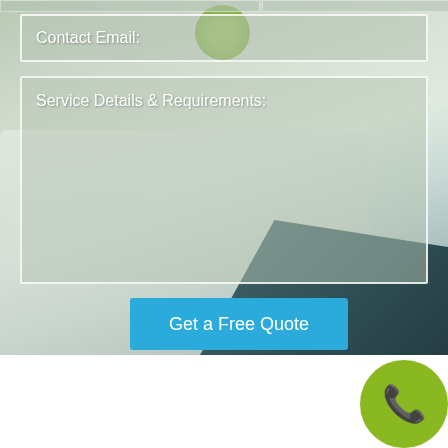[Figure (photo): Background photo of a living room with white sofa/couch and dark gray carpet, with green plant visible. Semi-transparent form overlay with input fields on top.]
Contact Email:
Service Details & Requirements:
Get a Free Quote
Domestic Cleaners in Forest
If you have always wanted to hire someone to he...